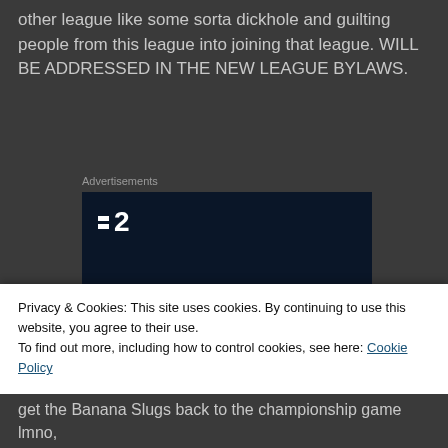other league like some sorta dickhole and guilting people from this league into joining that league. WILL BE ADDRESSED IN THE NEW LEAGUE BYLAWS.
Advertisements
[Figure (screenshot): Advertisement for a project management tool showing logo '2', headline 'Fewer meetings, more work.' and a 'Get started for free' button on dark navy background.]
Privacy & Cookies: This site uses cookies. By continuing to use this website, you agree to their use.
To find out more, including how to control cookies, see here: Cookie Policy
get the Banana Slugs back to the championship game lmno,